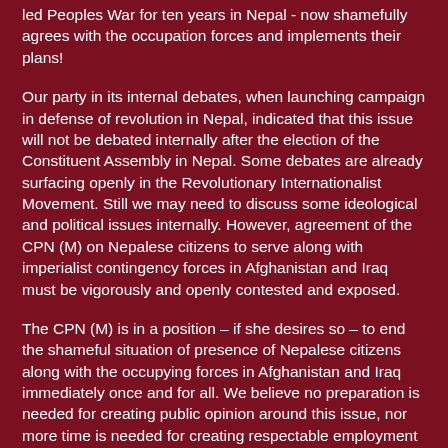led Peoples War for ten years in Nepal - now shamefully agrees with the occupation forces and implements their plans!
Our party in its internal debates, when launching campaign in defense of revolution in Nepal, indicated that this issue will not be debated internally after the election of the Constituent Assembly in Nepal. Some debates are already surfacing openly in the Revolutionary Internationalist Movement. Still we may need to discuss some ideological and political issues internally. However, agreement of the CPN (M) on Nepalese citizens to serve along with imperialist contingency forces in Afghanistan and Iraq must be vigorously and openly contested and exposed.
The CPN (M) is in a position – if she desires so – to end the shameful situation of presence of Nepalese citizens along with the occupying forces in Afghanistan and Iraq immediately once and for all. We believe no preparation is needed for creating public opinion around this issue, nor more time is needed for creating respectable employment inside Nepal for deployment of its citizen from Afghanistan